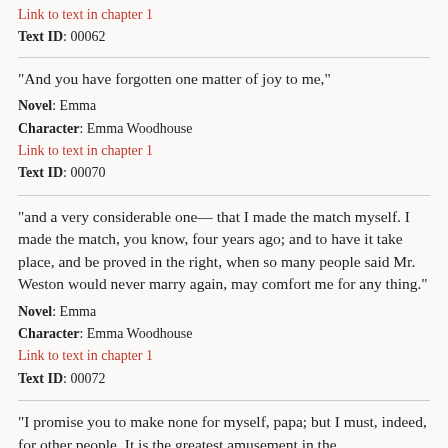Link to text in chapter 1
Text ID: 00062
"And you have forgotten one matter of joy to me,"
Novel: Emma
Character: Emma Woodhouse
Link to text in chapter 1
Text ID: 00070
"and a very considerable one— that I made the match myself. I made the match, you know, four years ago; and to have it take place, and be proved in the right, when so many people said Mr. Weston would never marry again, may comfort me for any thing."
Novel: Emma
Character: Emma Woodhouse
Link to text in chapter 1
Text ID: 00072
"I promise you to make none for myself, papa; but I must, indeed, for other people. It is the greatest amusement in the